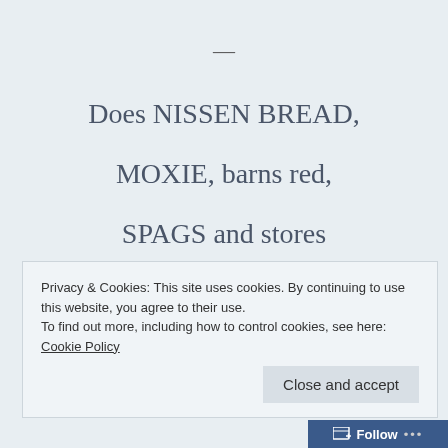—
Does NISSEN BREAD,
MOXIE, barns red,
SPAGS and stores
With “colonial” decors,
Privacy & Cookies: This site uses cookies. By continuing to use this website, you agree to their use.
To find out more, including how to control cookies, see here: Cookie Policy
Close and accept
Follow ...